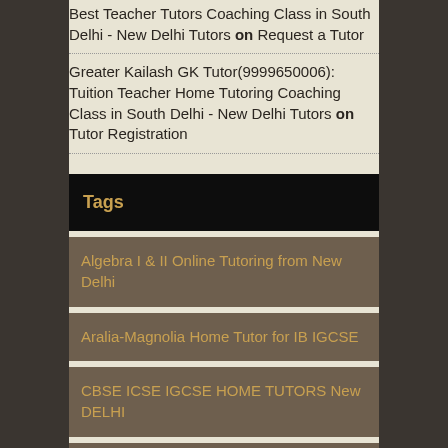Best Teacher Tutors Coaching Class in South Delhi - New Delhi Tutors on Request a Tutor
Greater Kailash GK Tutor(9999650006): Tuition Teacher Home Tutoring Coaching Class in South Delhi - New Delhi Tutors on Tutor Registration
Tags
Algebra I & II Online Tutoring from New Delhi
Aralia-Magnolia Home Tutor for IB IGCSE
CBSE ICSE IGCSE HOME TUTORS New DELHI
Expert Private Home Tutors Tuitions